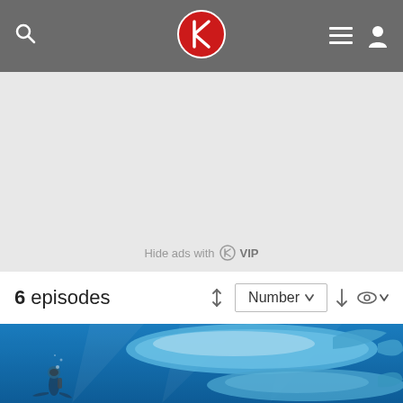Navigation bar with search, logo, menu and user icons
[Figure (screenshot): Ad banner area with light gray background and 'Hide ads with VIP' text]
6 episodes
[Figure (screenshot): Underwater photo of scuba diver swimming with large whale sharks in blue ocean water]